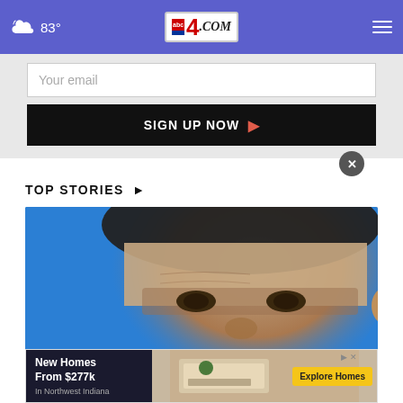83° abc4.com
Your email
SIGN UP NOW ›
TOP STORIES ›
[Figure (photo): Close-up photo of a man's face with dark hair against a blue background]
[Figure (other): Advertisement banner: New Homes From $277k In Northwest Indiana — Explore Homes]